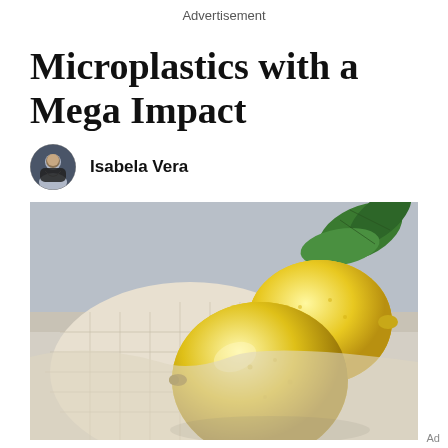Advertisement
Microplastics with a Mega Impact
Isabela Vera
[Figure (photo): Close-up photo of two yellow lemons resting in a white mesh/net reusable bag with green leaves in the background, on a light surface.]
Ad